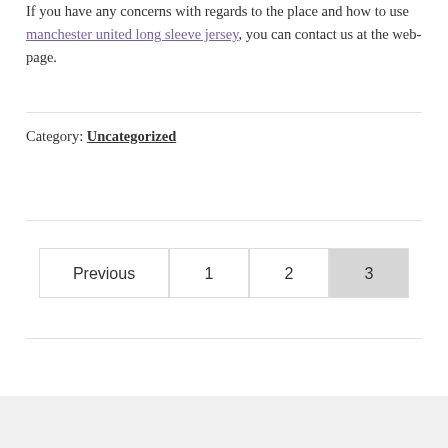If you have any concerns with regards to the place and how to use manchester united long sleeve jersey, you can contact us at the web-page.
Category: Uncategorized
Previous 1 2 3